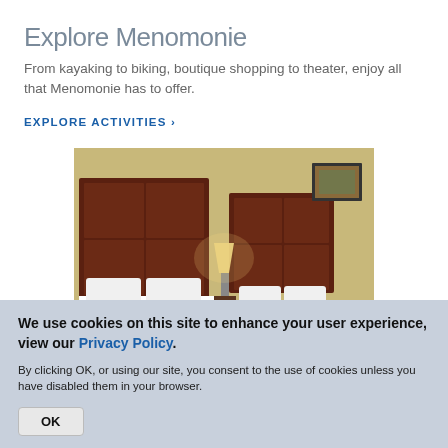Explore Menomonie
From kayaking to biking, boutique shopping to theater, enjoy all that Menomonie has to offer.
EXPLORE ACTIVITIES >
[Figure (photo): Hotel room with two queen beds, dark wood headboards, green bedspreads, white pillows, bedside lamp, and a framed picture on the wall.]
We use cookies on this site to enhance your user experience, view our Privacy Policy.
By clicking OK, or using our site, you consent to the use of cookies unless you have disabled them in your browser.
OK